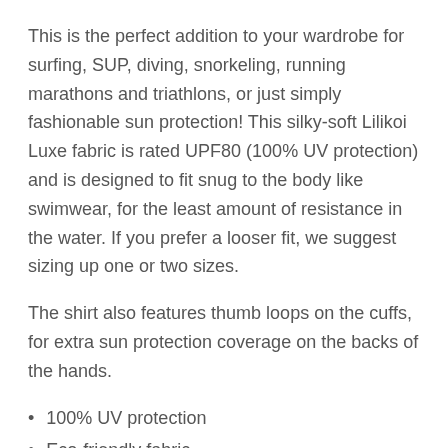This is the perfect addition to your wardrobe for surfing, SUP, diving, snorkeling, running marathons and triathlons, or just simply fashionable sun protection! This silky-soft Lilikoi Luxe fabric is rated UPF80 (100% UV protection) and is designed to fit snug to the body like swimwear, for the least amount of resistance in the water. If you prefer a looser fit, we suggest sizing up one or two sizes.
The shirt also features thumb loops on the cuffs, for extra sun protection coverage on the backs of the hands.
100% UV protection
Eco-friendly fabric
Anti-microbial & Odor-resistant